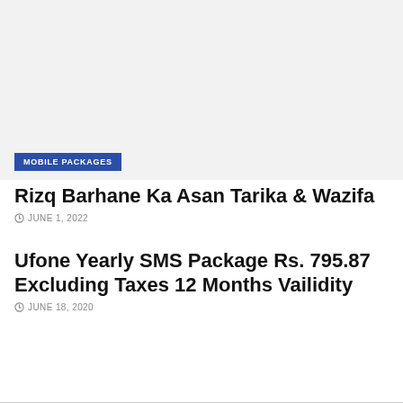[Figure (photo): Light gray placeholder image area with a blue 'MOBILE PACKAGES' badge in the lower left corner]
Rizq Barhane Ka Asan Tarika & Wazifa
JUNE 1, 2022
Ufone Yearly SMS Package Rs. 795.87 Excluding Taxes 12 Months Vailidity
JUNE 18, 2020